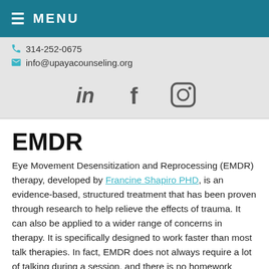≡ MENU
📞 314-252-0675
✉ info@upayacounseling.org
[Figure (other): Social media icons: LinkedIn (in), Facebook (f), Instagram (camera icon)]
EMDR
Eye Movement Desensitization and Reprocessing (EMDR) therapy, developed by Francine Shapiro PHD, is an evidence-based, structured treatment that has been proven through research to help relieve the effects of trauma. It can also be applied to a wider range of concerns in therapy. It is specifically designed to work faster than most talk therapies. In fact, EMDR does not always require a lot of talking during a session, and there is no homework between